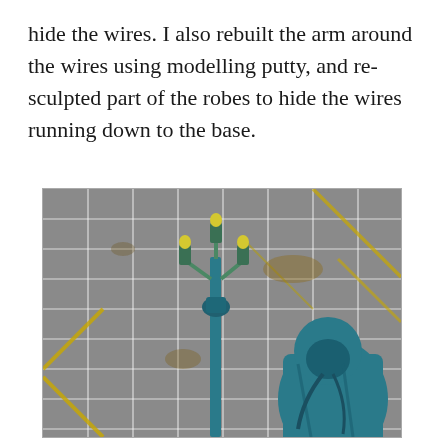hide the wires. I also rebuilt the arm around the wires using modelling putty, and re-sculpted part of the robes to hide the wires running down to the base.
[Figure (photo): Close-up photo of a partially painted miniature figure (a wizard or mage in teal/blue robes) holding a staff with small green candle-holders at the top, photographed on a grey cutting mat with a white grid pattern and yellow diagonal marks.]